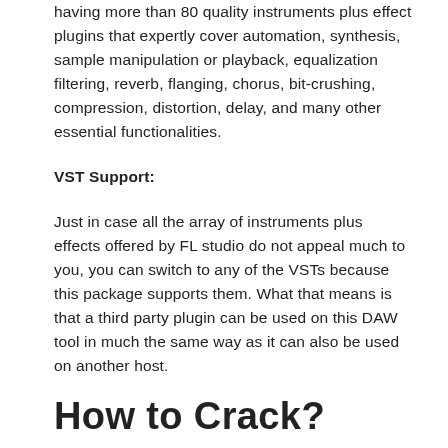having more than 80 quality instruments plus effect plugins that expertly cover automation, synthesis, sample manipulation or playback, equalization filtering, reverb, flanging, chorus, bit-crushing, compression, distortion, delay, and many other essential functionalities.
VST Support:
Just in case all the array of instruments plus effects offered by FL studio do not appeal much to you, you can switch to any of the VSTs because this package supports them. What that means is that a third party plugin can be used on this DAW tool in much the same way as it can also be used on another host.
How to Crack?